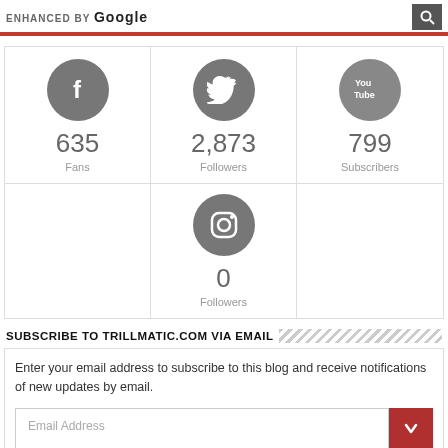ENHANCED BY Google
[Figure (infographic): Social media follower counts: Facebook 635 Fans, Twitter 2,873 Followers, YouTube 799 Subscribers, Instagram 0 Followers]
SUBSCRIBE TO TRILLMATIC.COM VIA EMAIL
Enter your email address to subscribe to this blog and receive notifications of new updates by email.
Email Address